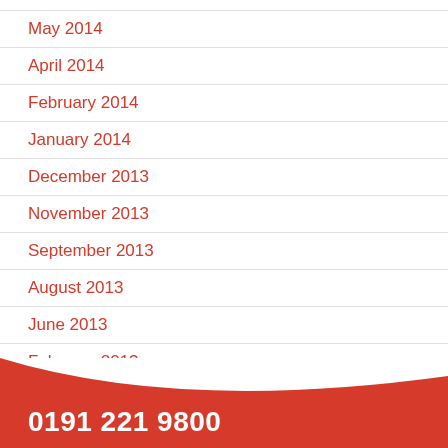May 2014
April 2014
February 2014
January 2014
December 2013
November 2013
September 2013
August 2013
June 2013
February 2013
January 2013
0191 221 9800